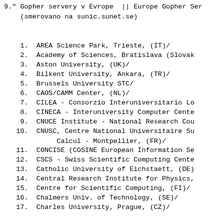9." Gopher servery v Evrope  || Europe Gopher Ser...
   (smerovano na sunic.sunet.se)
1.  AREA Science Park, Trieste, (IT)/
2.  Academy of Sciences, Bratislava (Slovak...
3.  Aston University, (UK)/
4.  Bilkent University, Ankara, (TR)/
5.  Brussels University STC/
6.  CAOS/CAMM Center, (NL)/
7.  CILEA - Consorzio Interuniversitario Lo...
8.  CINECA - Interuniversity Computer Cente...
9.  CNUCE Institute - National Research Cou...
10. CNUSC, Centre National Universitaire Su...
        Calcul - Montpellier, (FR)/
11. CONCISE (COSINE European Information Se...
12. CSCS - Swiss Scientific Computing Cente...
13. Catholic University of Eichstaett, (DE)...
14. Central Research Institute for Physics,...
15. Centre for Scientific Computing, (FI)/
16. Chalmers Univ. of Technology, (SE)/
17. Charles University, Prague, (CZ)/...